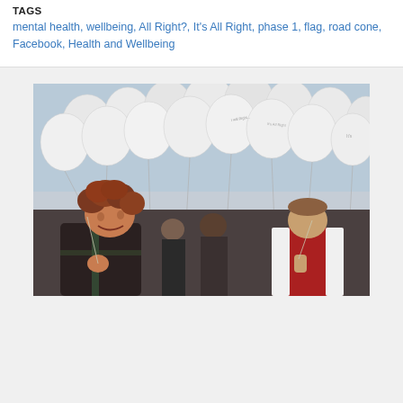TAGS
mental health, wellbeing, All Right?, It's All Right, phase 1, flag, road cone, Facebook, Health and Wellbeing
[Figure (photo): Children holding bunches of white balloons outdoors. A curly red-haired boy in the foreground is smiling and holding balloon strings. Other children are visible in the background, some holding white balloons with writing on them.]